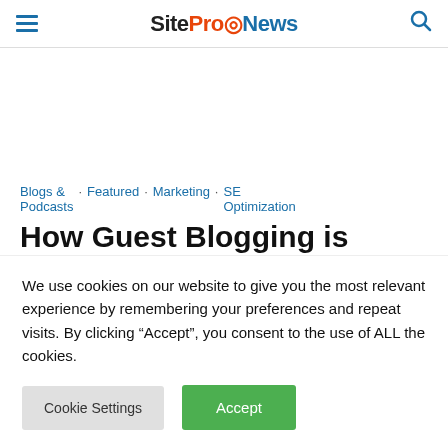SiteProNews
Blogs & Podcasts · Featured · Marketing · SE Optimization
How Guest Blogging is
We use cookies on our website to give you the most relevant experience by remembering your preferences and repeat visits. By clicking “Accept”, you consent to the use of ALL the cookies.
Cookie Settings | Accept